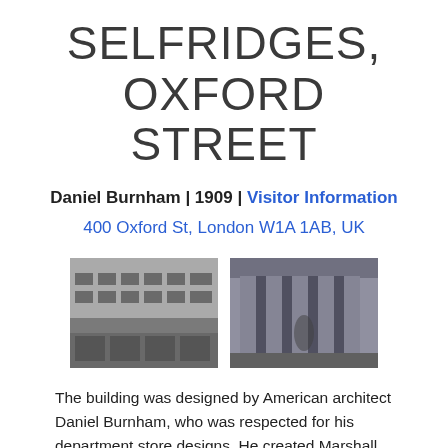SELFRIDGES, OXFORD STREET
Daniel Burnham | 1909 | Visitor Information
400 Oxford St, London W1A 1AB, UK
[Figure (photo): Black and white photograph of Selfridges building exterior, showing facade]
[Figure (photo): Black and white photograph of Selfridges building columns detail]
The building was designed by American architect Daniel Burnham, who was respected for his department store designs. He created Marshall Field's, Chicago, Filene's in Boston, Wanamaker's in Philadelphia, and Gimbels and Wanamaker's in New York City. The building was an early